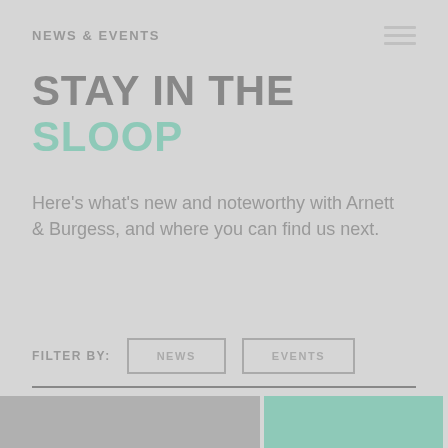NEWS & EVENTS
STAY IN THE SLOOP
Here's what's new and noteworthy with Arnett & Burgess, and where you can find us next.
FILTER BY:  NEWS  EVENTS
[Figure (photo): Two thumbnail images at the bottom of the page: a grey/dark image on the left and a muted green/teal image on the right]